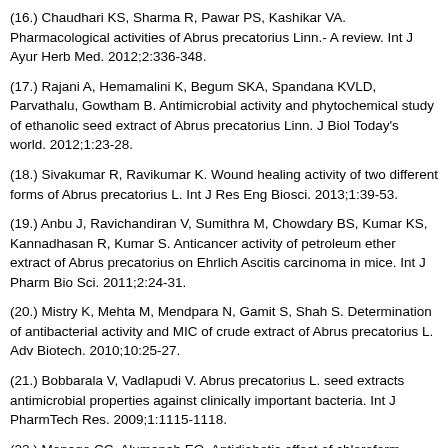(16.) Chaudhari KS, Sharma R, Pawar PS, Kashikar VA. Pharmacological activities of Abrus precatorius Linn.- A review. Int J Ayur Herb Med. 2012;2:336-348.
(17.) Rajani A, Hemamalini K, Begum SKA, Spandana KVLD, Parvathalu, Gowtham B. Antimicrobial activity and phytochemical study of ethanolic seed extract of Abrus precatorius Linn. J Biol Today's world. 2012;1:23-28.
(18.) Sivakumar R, Ravikumar K. Wound healing activity of two different forms of Abrus precatorius L. Int J Res Eng Biosci. 2013;1:39-53.
(19.) Anbu J, Ravichandiran V, Sumithra M, Chowdary BS, Kumar KS, Kannadhasan R, Kumar S. Anticancer activity of petroleum ether extract of Abrus precatorius on Ehrlich Ascitis carcinoma in mice. Int J Pharm Bio Sci. 2011;2:24-31.
(20.) Mistry K, Mehta M, Mendpara N, Gamit S, Shah S. Determination of antibacterial activity and MIC of crude extract of Abrus precatorius L. Adv Biotech. 2010;10:25-27.
(21.) Bobbarala V, Vadlapudi V. Abrus precatorius L. seed extracts antimicrobial properties against clinically important bacteria. Int J PharmTech Res. 2009;1:1115-1118.
(22.) Monago CC, Alumanah EO. Antidiabetic effect of chloroform-methanol extract of Abrus precatorius Linn seed in Alloxan diabetic rabbit. J Appl Sci Environ Manage. 2005;9:85-88.
(23.) Pal RS, Ariharashivakumar G, Girhepunje K, Upadhyay A. In vitro